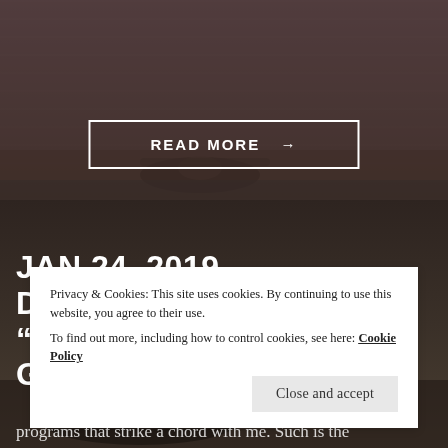[Figure (photo): Yoga class scene with people on mats on a wooden floor, darkened overlay]
READ MORE →
[Figure (photo): Dark brownish background image of a yoga studio or similar space]
JAN 24, 2019 DEVOTIONAL: "LIFE, DEATH, AND GETTING
Privacy & Cookies: This site uses cookies. By continuing to use this website, you agree to their use.
To find out more, including how to control cookies, see here: Cookie Policy
Close and accept
programs that strike a chord with me. Such is the